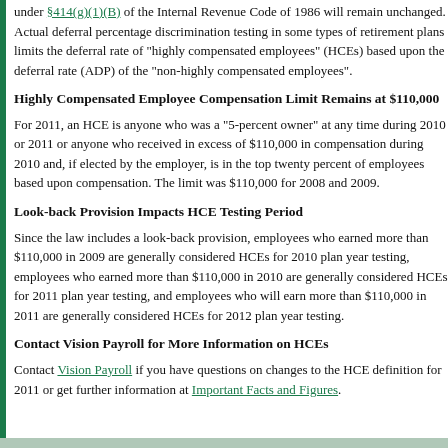under §414(g)(1)(B) of the Internal Revenue Code of 1986 will remain unchanged. Actual deferral percentage discrimination testing in some types of retirement plans limits the deferral rate of "highly compensated employees" (HCEs) based upon the deferral rate (ADP) of the "non-highly compensated employees".
Highly Compensated Employee Compensation Limit Remains at $110,000
For 2011, an HCE is anyone who was a "5-percent owner" at any time during 2010 or 2011 or anyone who received in excess of $110,000 in compensation during 2010 and, if elected by the employer, is in the top twenty percent of employees based upon compensation. The limit was $110,000 for 2008 and 2009.
Look-back Provision Impacts HCE Testing Period
Since the law includes a look-back provision, employees who earned more than $110,000 in 2009 are generally considered HCEs for 2010 plan year testing, employees who earned more than $110,000 in 2010 are generally considered HCEs for 2011 plan year testing, and employees who will earn more than $110,000 in 2011 are generally considered HCEs for 2012 plan year testing.
Contact Vision Payroll for More Information on HCEs
Contact Vision Payroll if you have questions on changes to the HCE definition for 2011 or get further information at Important Facts and Figures.